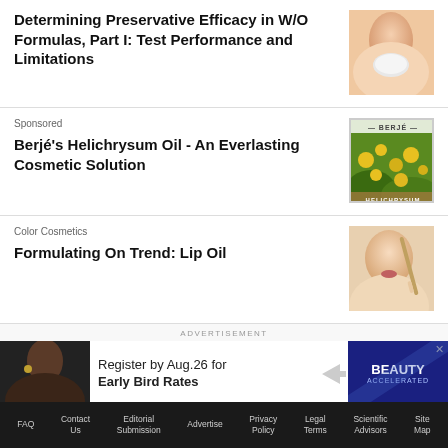Determining Preservative Efficacy in W/O Formulas, Part I: Test Performance and Limitations
[Figure (photo): Person holding a white cosmetic cream jar]
Sponsored
Berjé's Helichrysum Oil - An Everlasting Cosmetic Solution
[Figure (photo): Yellow helichrysum flowers in a field with Berjé branding overlay]
Color Cosmetics
Formulating On Trend: Lip Oil
[Figure (photo): Smiling blonde woman applying lip product]
ADVERTISEMENT
[Figure (photo): Advertisement banner: Register by Aug. 26 for Early Bird Rates - Beauty Accelerated]
FAQ  Contact Us  Editorial Submission  Advertise  Privacy Policy  Legal Terms  Scientific Advisors  Site Map